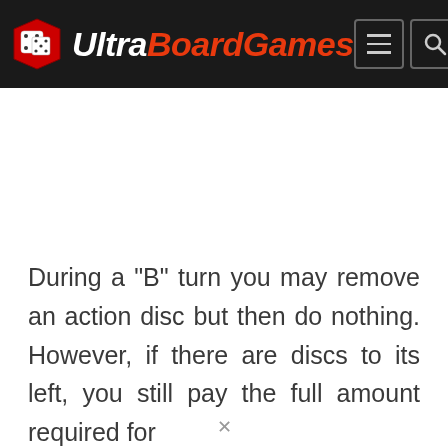UltraBoardGames
During a "B" turn you may remove an action disc but then do nothing. However, if there are discs to its left, you still pay the full amount required for